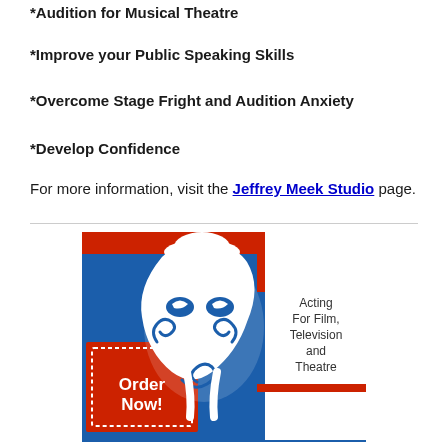*Audition for Musical Theatre
*Improve your Public Speaking Skills
*Overcome Stage Fright and Audition Anxiety
*Develop Confidence
For more information, visit the Jeffrey Meek Studio page.
[Figure (illustration): Advertisement for acting book/course: blue background with stylized theatrical mask/face illustration in white and blue. Red box with dashed white border on left reads 'Order Now!' in white bold text. White speech bubble area on right reads 'Acting For Film, Television and Theatre' in dark text. Red horizontal bar across top.]